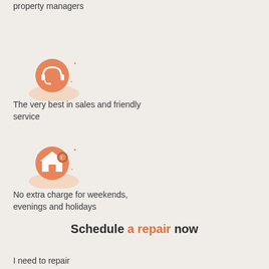Discounts for senior citizen and property managers
[Figure (illustration): Orange headset / customer service icon with decorative sparkles and a soft orange shadow blob beneath it]
The very best in sales and friendly service
[Figure (illustration): Orange house with a circular badge icon, decorative sparkles, and a soft orange shadow blob beneath it]
No extra charge for weekends, evenings and holidays
Schedule a repair now
I need to repair